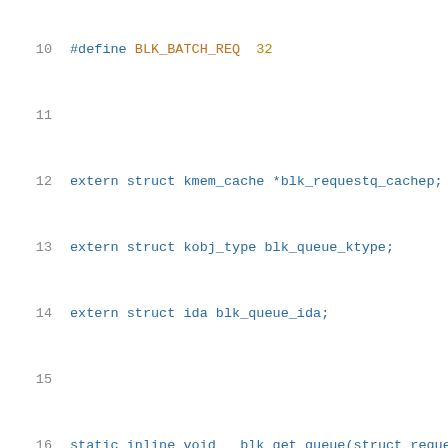[Figure (screenshot): Source code listing in C showing lines 10-31 of a Linux kernel block device header file, with syntax highlighting. Lines include #define BLK_BATCH_REQ, extern struct declarations, static inline function __blk_get_queue, and function prototypes for init_request_from_bio, blk_rq_bio_prep, blk_rq_append_bio, blk_drain_queue, blk_dequeue_request, __blk_queue_free_tags, __blk_end_bidi_request.]